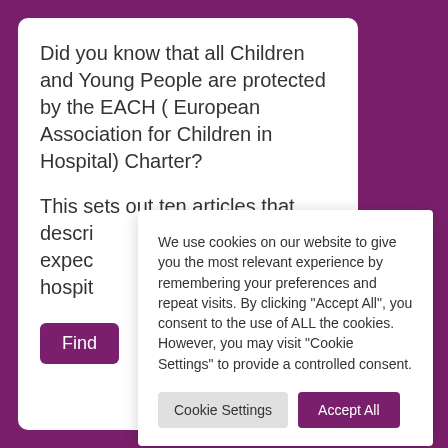Did you know that all Children and Young People are protected by the EACH ( European Association for Children in Hospital) Charter?
This sets out ten articles that descri expec hospit
Find
We use cookies on our website to give you the most relevant experience by remembering your preferences and repeat visits. By clicking "Accept All", you consent to the use of ALL the cookies. However, you may visit "Cookie Settings" to provide a controlled consent.
Cookie Settings
Accept All